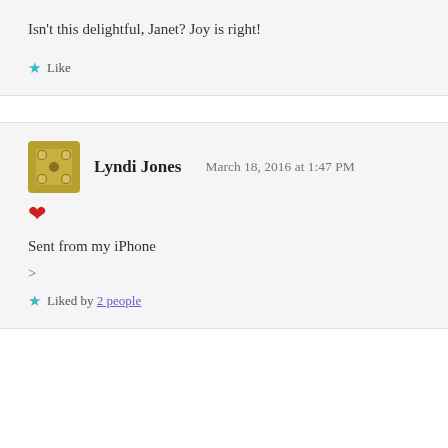Isn't this delightful, Janet? Joy is right!
★ Like
Lyndi Jones   March 18, 2016 at 1:47 PM
❤
Sent from my iPhone
>
★ Liked by 2 people